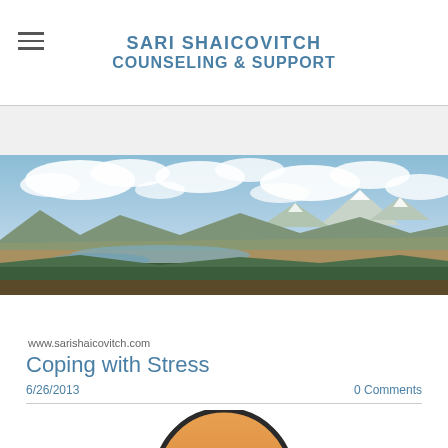SARI SHAICOVITCH COUNSELING & SUPPORT
[Figure (photo): Panoramic landscape photo showing a wide valley with mountains in the background, a lake or river in the middle ground, green and brown moorland, and a dramatic cloudy blue sky with snow-capped peaks.]
www.sarishaicovitch.com
Coping with Stress
6/26/2013   0 Comments
[Figure (illustration): Partial view of a cartoon-style avatar or emoji face with orange/tan skin tones and dark outline, cropped at the bottom of the page.]